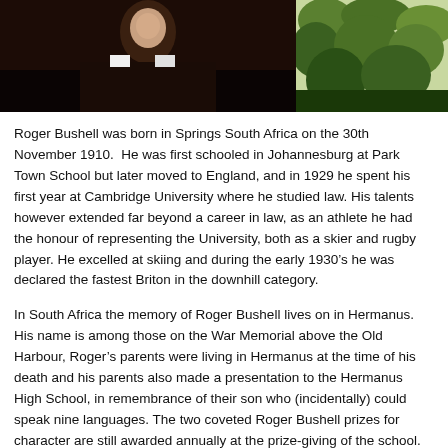[Figure (photo): Two photographs side by side at the top of the page: a black and white portrait photograph of a man on the left, and a color photograph of green foliage/plants on the right.]
Roger Bushell was born in Springs South Africa on the 30th November 1910.  He was first schooled in Johannesburg at Park Town School but later moved to England, and in 1929 he spent his first year at Cambridge University where he studied law. His talents however extended far beyond a career in law, as an athlete he had the honour of representing the University, both as a skier and rugby player. He excelled at skiing and during the early 1930’s he was declared the fastest Briton in the downhill category.
In South Africa the memory of Roger Bushell lives on in Hermanus. His name is among those on the War Memorial above the Old Harbour, Roger’s parents were living in Hermanus at the time of his death and his parents also made a presentation to the Hermanus High School, in remembrance of their son who (incidentally) could speak nine languages. The two coveted Roger Bushell prizes for character are still awarded annually at the prize-giving of the school. One prize is